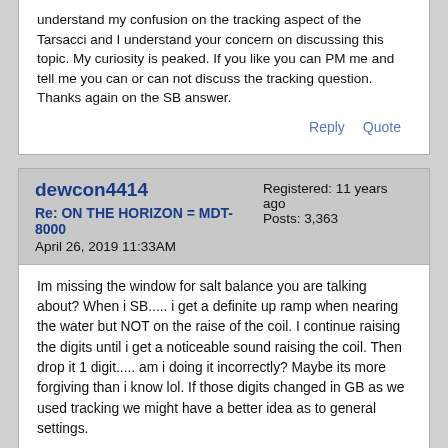understand my confusion on the tracking aspect of the Tarsacci and I understand your concern on discussing this topic. My curiosity is peaked. If you like you can PM me and tell me you can or can not discuss the tracking question. Thanks again on the SB answer.
Reply   Quote
dewcon4414
Re: ON THE HORIZON = MDT-8000
April 26, 2019 11:33AM
Registered: 11 years ago
Posts: 3,363
Im missing the window for salt balance you are talking about? When i SB..... i get a definite up ramp when nearing the water but NOT on the raise of the coil. I continue raising the digits until i get a noticeable sound raising the coil. Then drop it 1 digit..... am i doing it incorrectly? Maybe its more forgiving than i know lol. If those digits changed in GB as we used tracking we might have a better idea as to general settings.
I just cant get the hang of Mixed mode..... but them most of my hunting is in the water and i get those very low volume ping pongs...... which for the most part are gone in AM. I